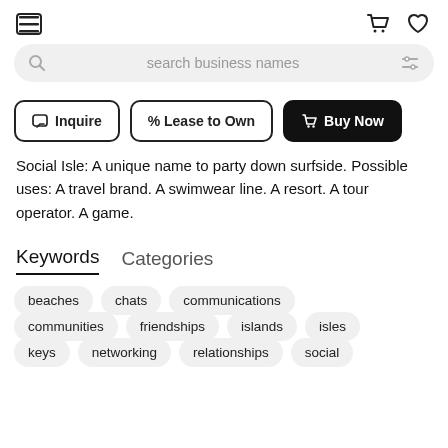[Figure (screenshot): Top navigation bar with hamburger menu icon on left and cart and heart icons on right]
[Figure (screenshot): Search bar with magnifying glass icon and filter icon, placeholder text 'search business names']
[Figure (screenshot): Three action buttons: Inquire (outline), Lease to Own (outline), Buy Now (filled black)]
Social Isle: A unique name to party down surfside. Possible uses: A travel brand. A swimwear line. A resort. A tour operator. A game.
Keywords   Categories
beaches
chats
communications
communities
friendships
islands
isles
keys
networking
relationships
social